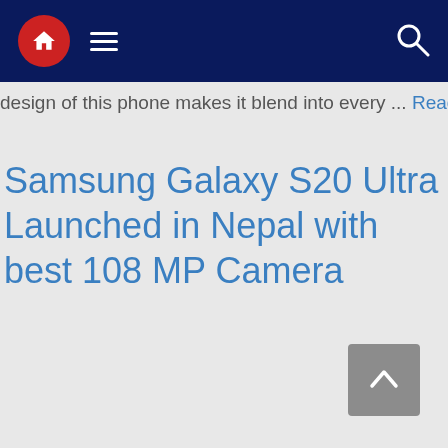Navigation bar with home button, hamburger menu, and search icon
design of this phone makes it blend into every ... Read more
Samsung Galaxy S20 Ultra Launched in Nepal with best 108 MP Camera